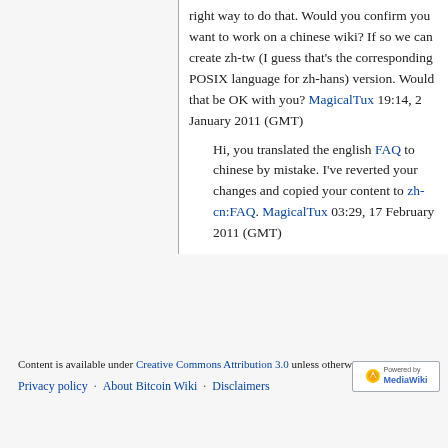right way to do that. Would you confirm you want to work on a chinese wiki? If so we can create zh-tw (I guess that's the corresponding POSIX language for zh-hans) version. Would that be OK with you? MagicalTux 19:14, 2 January 2011 (GMT)
Hi, you translated the english FAQ to chinese by mistake. I've reverted your changes and copied your content to zh-cn:FAQ. MagicalTux 03:29, 17 February 2011 (GMT)
Content is available under Creative Commons Attribution 3.0 unless otherwise noted. Privacy policy · About Bitcoin Wiki · Disclaimers